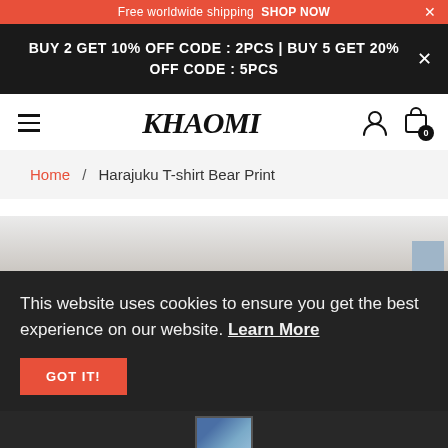Free worldwide shipping SHOP NOW
BUY 2 GET 10% OFF CODE : 2PCS | BUY 5 GET 20% OFF CODE : 5PCS
[Figure (logo): KHAOMI brand logo in italic serif font]
Home / Harajuku T-shirt Bear Print
[Figure (photo): Product photo area showing Harajuku T-shirt Bear Print, partially visible]
This website uses cookies to ensure you get the best experience on our website. Learn More
[Figure (photo): Thumbnail of product photo at bottom]